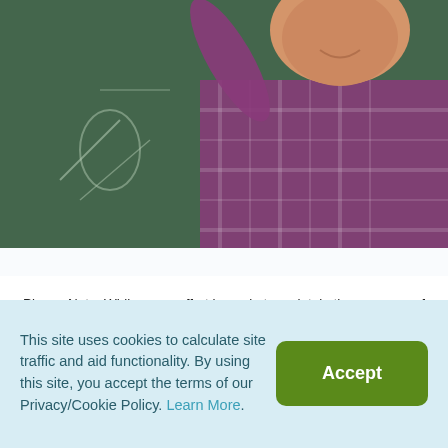[Figure (photo): Teacher or student in purple plaid shirt writing on a green chalkboard, arm raised, photographed from waist up]
Please Note: While every effort is made to maintain the accuracy of these details, changes can and do occur. Please confirm the course details when enrolling.
[Figure (photo): Exterior view of a modern university or institutional building with brick and glass facade]
This site uses cookies to calculate site traffic and aid functionality. By using this site, you accept the terms of our Privacy/Cookie Policy. Learn More.